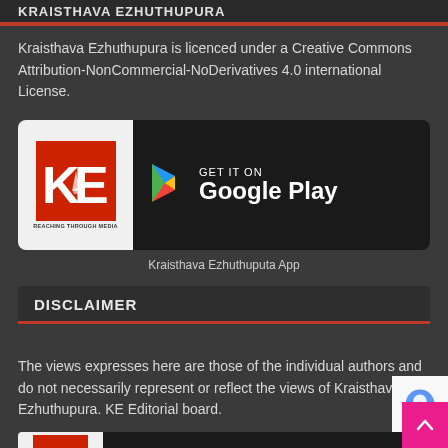KRAISTHAVA EZHUTHUPURA
Kraisthava Ezhuthupura is licenced under a Creative Commons Attribution-NonCommercial-NoDerivatives 4.0 international License.
[Figure (logo): Kraisthava Ezhuthupura (KE) logo on left with Google Play Store badge on right. Black background with Google Play triangle logo and text GET IT ON Google Play.]
Kraisthava Ezhuthuputa App
DISCLAIMER
The views expresses here are those of the individual authors and do not necessarily represent or reflect the views of Kraisthava Ezhuthupura. KE Editorial board.
[Figure (logo): Kraisthava Ezhuthupura logo on left with Apple App Store Download badge on right. Partially visible at bottom of page.]